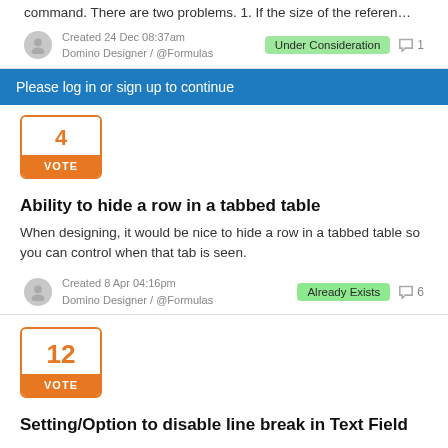command. There are two problems. 1. If the size of the referen…
Created 24 Dec 08:37am
Domino Designer / @Formulas
Under Consideration  💬 1
Please log in or sign up to continue
4
VOTE
Ability to hide a row in a tabbed table
When designing, it would be nice to hide a row in a tabbed table so you can control when that tab is seen.
Created 8 Apr 04:16pm
Domino Designer / @Formulas
Already Exists  💬 6
12
VOTE
Setting/Option to disable line break in Text Field